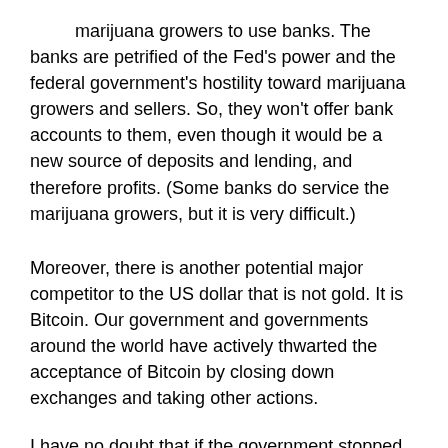marijuana growers to use banks. The banks are petrified of the Fed's power and the federal government's hostility toward marijuana growers and sellers. So, they won't offer bank accounts to them, even though it would be a new source of deposits and lending, and therefore profits. (Some banks do service the marijuana growers, but it is very difficult.)
Moreover, there is another potential major competitor to the US dollar that is not gold. It is Bitcoin. Our government and governments around the world have actively thwarted the acceptance of Bitcoin by closing down exchanges and taking other actions.
I have no doubt that if the government stopped thwarting competition, a competitive money and banking system based on that money would emerge, and the dollar would